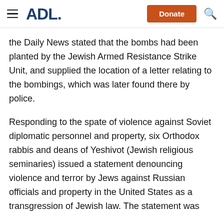ADL
the Daily News stated that the bombs had been planted by the Jewish Armed Resistance Strike Unit, and supplied the location of a letter relating to the bombings, which was later found there by police.
Responding to the spate of violence against Soviet diplomatic personnel and property, six Orthodox rabbis and deans of Yeshivot (Jewish religious seminaries) issued a statement denouncing violence and terror by Jews against Russian officials and property in the United States as a transgression of Jewish law. The statement was